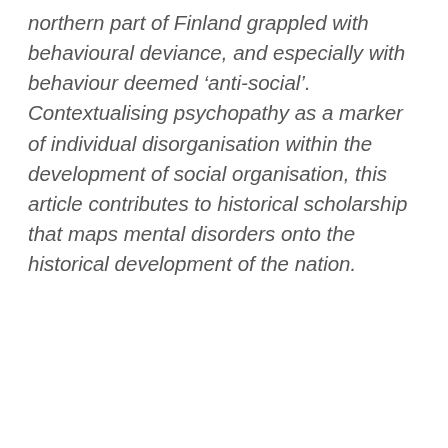northern part of Finland grappled with behavioural deviance, and especially with behaviour deemed 'anti-social'. Contextualising psychopathy as a marker of individual disorganisation within the development of social organisation, this article contributes to historical scholarship that maps mental disorders onto the historical development of the nation.